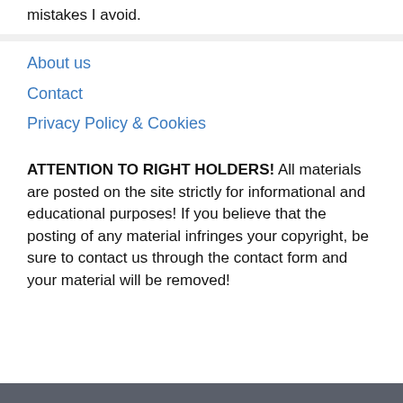mistakes I avoid.
About us
Contact
Privacy Policy & Cookies
ATTENTION TO RIGHT HOLDERS! All materials are posted on the site strictly for informational and educational purposes! If you believe that the posting of any material infringes your copyright, be sure to contact us through the contact form and your material will be removed!